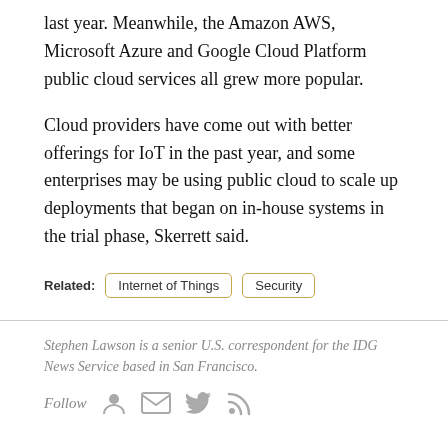last year. Meanwhile, the Amazon AWS, Microsoft Azure and Google Cloud Platform public cloud services all grew more popular.
Cloud providers have come out with better offerings for IoT in the past year, and some enterprises may be using public cloud to scale up deployments that began on in-house systems in the trial phase, Skerrett said.
Related: Internet of Things  Security
Stephen Lawson is a senior U.S. correspondent for the IDG News Service based in San Francisco.
Follow